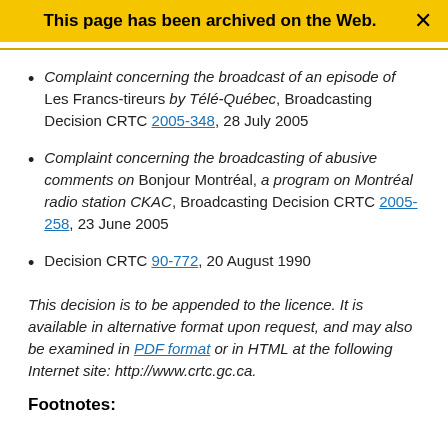This page has been archived on the Web.
Complaint concerning the broadcast of an episode of Les Francs-tireurs by Télé-Québec, Broadcasting Decision CRTC 2005-348, 28 July 2005
Complaint concerning the broadcasting of abusive comments on Bonjour Montréal, a program on Montréal radio station CKAC, Broadcasting Decision CRTC 2005-258, 23 June 2005
Decision CRTC 90-772, 20 August 1990
This decision is to be appended to the licence. It is available in alternative format upon request, and may also be examined in PDF format or in HTML at the following Internet site: http://www.crtc.gc.ca.
Footnotes: